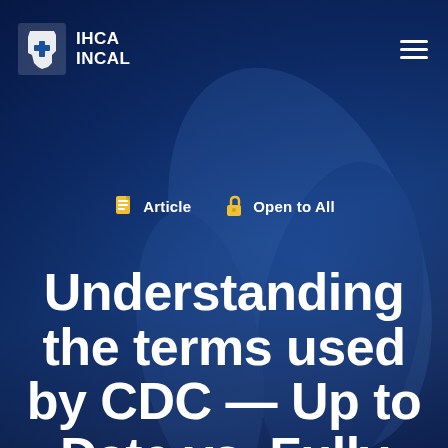IHCA INCAL
Article   Open to All
Understanding the terms used by CDC — Up to Date vs. Fully